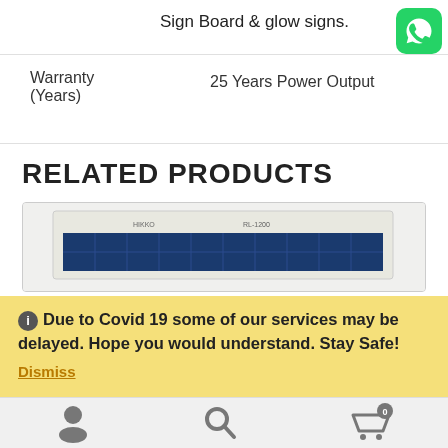Sign Board & glow signs.
[Figure (logo): WhatsApp green logo icon]
|  |  |
| --- | --- |
| Warranty (Years) | 25 Years Power Output |
RELATED PRODUCTS
[Figure (photo): Solar panel product image showing blue solar cells in a white frame]
Due to Covid 19 some of our services may be delayed. Hope you would understand. Stay Safe!
Dismiss
[Figure (infographic): Bottom navigation toolbar with user icon, search icon, and cart icon with badge 0]